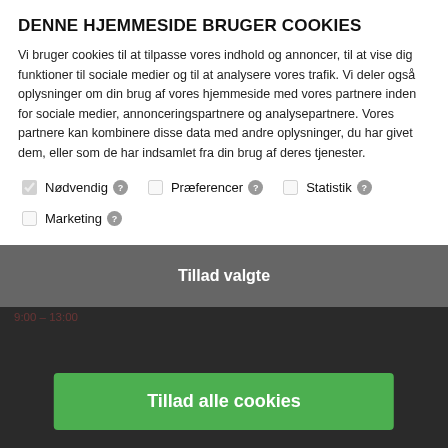DENNE HJEMMESIDE BRUGER COOKIES
Vi bruger cookies til at tilpasse vores indhold og annoncer, til at vise dig funktioner til sociale medier og til at analysere vores trafik. Vi deler også oplysninger om din brug af vores hjemmeside med vores partnere inden for sociale medier, annonceringspartnere og analysepartnere. Vores partnere kan kombinere disse data med andre oplysninger, du har givet dem, eller som de har indsamlet fra din brug af deres tjenester.
☑ Nødvendig  ☐ Præferencer  ☐ Statistik
☐ Marketing
Tillad valgte
Tillad alle cookies